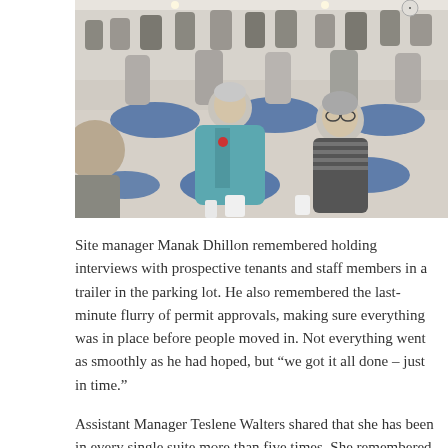[Figure (photo): A large dining hall filled with elderly residents seated at round tables covered with blue tablecloths. In the foreground, a woman in a teal jacket and another woman in a striped top are seated at a table. The hall is crowded with many seniors eating and socializing.]
Site manager Manak Dhillon remembered holding interviews with prospective tenants and staff members in a trailer in the parking lot. He also remembered the last-minute flurry of permit approvals, making sure everything was in place before people moved in. Not everything went as smoothly as he had hoped, but “we got it all done – just in time.”
Assistant Manager Teslene Walters shared that she has been in every single suite more than five times. She remembered walking through the suites with just the framing done and then again – a few more times – when all